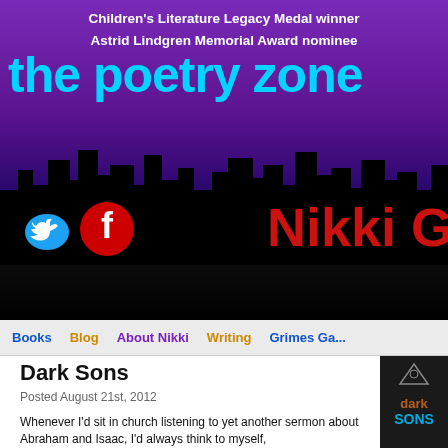Children's Literature Legacy Medal winner
Astrid Lindgren Memorial Award nominee
the poetry zone
[Figure (logo): The Poetry Zone website header with purple gradient background, city skyline silhouette, Twitter and Facebook social icons, and 'Nikki G' name in red cursive text]
Books | Blog | About Nikki | Writing | Grimes Ga...
Dark Sons
Posted August 21st, 2012
Whenever I'd sit in church listening to yet another sermon about Abraham and Isaac, I'd always think to myself, "Yeah, but what about Ishmael?" I've heard maybe three sermons about Ishmael in the last two years, but before then, I can't remember ever having heard a single one, which, of course, made me curious. What was the deal with Ishmael? With someone...